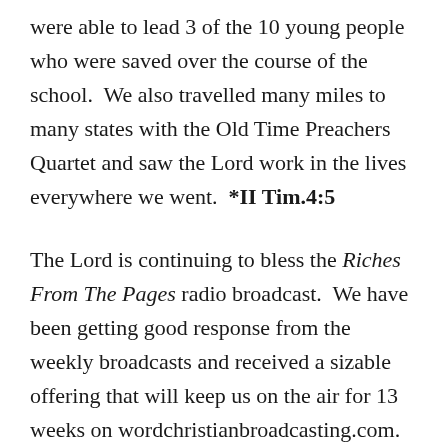were able to lead 3 of the 10 young people who were saved over the course of the school. We also travelled many miles to many states with the Old Time Preachers Quartet and saw the Lord work in the lives everywhere we went. *II Tim.4:5
The Lord is continuing to bless the Riches From The Pages radio broadcast. We have been getting good response from the weekly broadcasts and received a sizable offering that will keep us on the air for 13 weeks on wordchristianbroadcasting.com. We are finalizing our launch on a station in Wimauma, Florida within the month. Our goal is to be on the air 7 days a week in seven states. On average $100 will